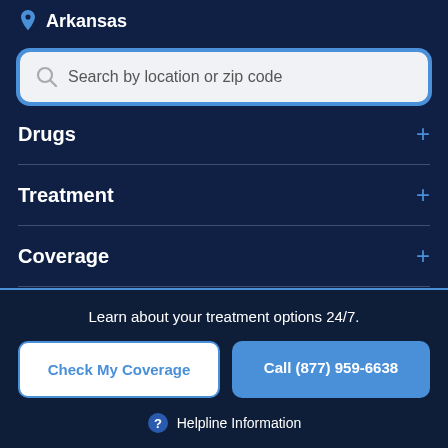Arkansas
[Figure (screenshot): Search input box with placeholder text 'Search by location or zip code' and a search icon on the left, styled with a blue border on a light gray background.]
Drugs +
Treatment +
Coverage +
Learn about your treatment options 24/7.
Check My Coverage
Call (877) 959-6638
Helpline Information